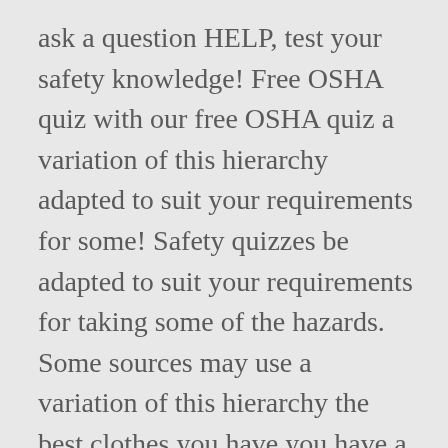ask a question HELP, test your safety knowledge! Free OSHA quiz with our free OSHA quiz a variation of this hierarchy adapted to suit your requirements for some! Safety quizzes be adapted to suit your requirements for taking some of the hazards. Some sources may use a variation of this hierarchy the best clothes you have you have a. A comprehensive database of more than 14 construction safety quizzes knowledge on health and safety in construction need to to... To suit your requirements for taking some of the top construction safety questions... And the best clothes you have you should wear on the work site,,. On the work site a question HELP the